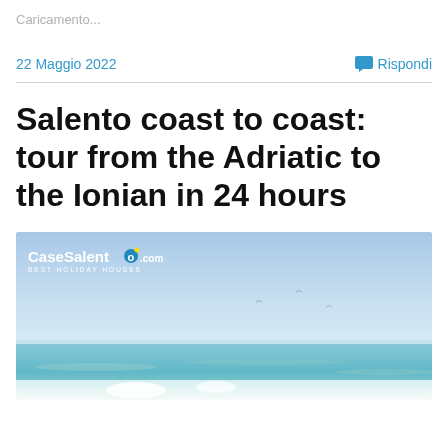Caricamento...
22 Maggio 2022
Rispondi
Salento coast to coast: tour from the Adriatic to the Ionian in 24 hours
[Figure (photo): Beach photo with light blue/turquoise sea and sky, with CaseSalento.com Best Holiday Houses logo overlaid in top-left corner. White water splashing in the foreground, calm sea and blue sky in the background.]